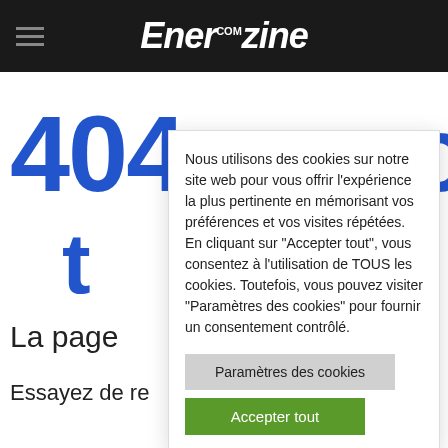Enerzine.com
404 non
t
La page
Essayez de re
Nous utilisons des cookies sur notre site web pour vous offrir l'expérience la plus pertinente en mémorisant vos préférences et vos visites répétées. En cliquant sur "Accepter tout", vous consentez à l'utilisation de TOUS les cookies. Toutefois, vous pouvez visiter "Paramètres des cookies" pour fournir un consentement contrôlé.
Paramètres des cookies
Accepter tout